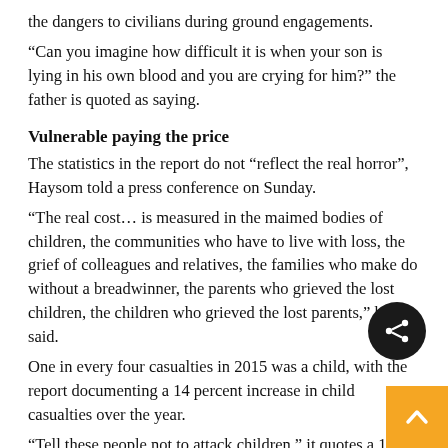the dangers to civilians during ground engagements.
“Can you imagine how difficult it is when your son is lying in his own blood and you are crying for him?” the father is quoted as saying.
Vulnerable paying the price
The statistics in the report do not “reflect the real horror”, Haysom told a press conference on Sunday.
“The real cost… is measured in the maimed bodies of children, the communities who have to live with loss, the grief of colleagues and relatives, the families who make do without a breadwinner, the parents who grieved the lost children, the children who grieved the lost parents,” he said.
One in every four casualties in 2015 was a child, with the report documenting a 14 percent increase in child casualties over the year.
“Tell these people not to attack children,” it quotes a 12-year-old survivor of a mortar attack that killed four others as saying. “I want to study, not to die.”
While fighting and improvised explosive devices were the top killers of children, unexploded ordnance picked up and played with by curious and unsuspecting youngsters also claimed a heavy toll, killing 113 children — an average of two a week — and injuring 252